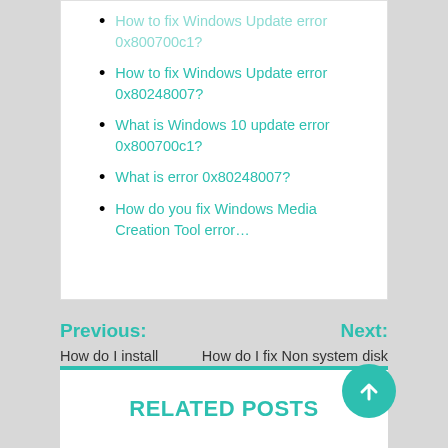How to fix Windows Update error 0x800700c1? (faded/partial at top)
How to fix Windows Update error 0x80248007?
What is Windows 10 update error 0x800700c1?
What is error 0x80248007?
How do you fix Windows Media Creation Tool error…
Previous: How do I install Jekyll on Windows?
Next: How do I fix Non system disk or disk error Windows 10?
RELATED POSTS